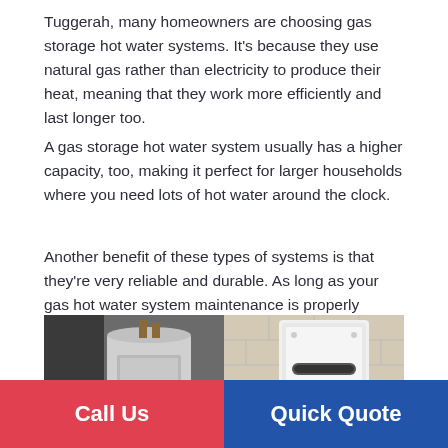Tuggerah, many homeowners are choosing gas storage hot water systems. It's because they use natural gas rather than electricity to produce their heat, meaning that they work more efficiently and last longer too.
A gas storage hot water system usually has a higher capacity, too, making it perfect for larger households where you need lots of hot water around the clock.
Another benefit of these types of systems is that they're very reliable and durable. As long as your gas hot water system maintenance is properly carried out and the system is serviced every year or two, it should continue working effectively for years to come.
[Figure (photo): Two photos side by side: left shows a gas hot water storage tank/cylinder unit in a utility area; right shows a white wall-mounted gas hot water unit on a tiled wall.]
Call Us
Quick Quote